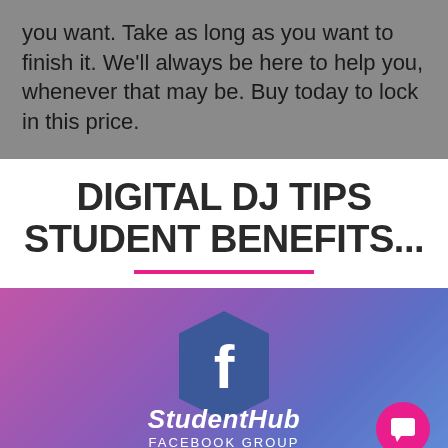you want. Take as long as you want to finish it. We'll always be here to help you, whenever that may be. Buy today to lock in this price.
DIGITAL DJ TIPS STUDENT BENEFITS...
[Figure (illustration): Gradient purple-to-blue background with a hexagonal Facebook 'f' icon in blue, below which reads 'StudentHub Facebook Group' in white italic bold text. A pink circle with a chat/smile icon appears in the bottom right corner.]